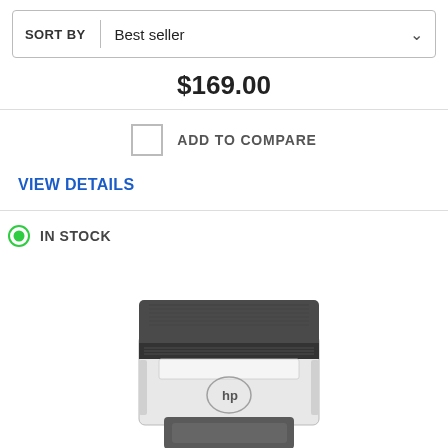SORT BY | Best seller
$169.00
ADD TO COMPARE
VIEW DETAILS
IN STOCK
[Figure (photo): HP LaserJet printer, white and dark gray body, paper tray extended at bottom, HP logo visible on front]